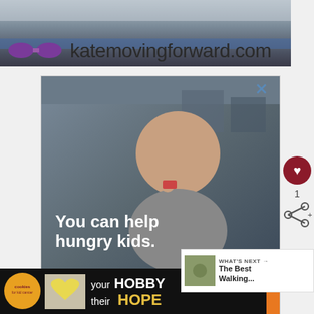[Figure (photo): Top banner ad for katemovingforward.com showing fitness/exercise theme with purple dumbbells and a person exercising in background]
[Figure (photo): Advertisement showing a young boy eating food in a classroom. Text overlay reads 'You can help hungry kids.' Orange bar at bottom with 'LEARN HOW' button and 'NO KID HUNGRY' logo. X close button in top right.]
[Figure (photo): Bottom banner advertisement for Cookies for Kids Cancer showing cookie shaped like a heart and text 'your HOBBY is their HOPE']
WHAT'S NEXT → The Best Walking...
1